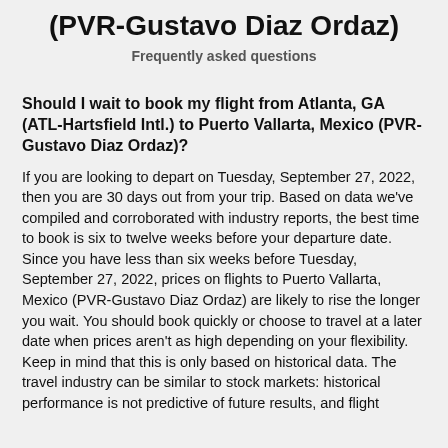(PVR-Gustavo Diaz Ordaz)
Frequently asked questions
Should I wait to book my flight from Atlanta, GA (ATL-Hartsfield Intl.) to Puerto Vallarta, Mexico (PVR-Gustavo Diaz Ordaz)?
If you are looking to depart on Tuesday, September 27, 2022, then you are 30 days out from your trip. Based on data we've compiled and corroborated with industry reports, the best time to book is six to twelve weeks before your departure date. Since you have less than six weeks before Tuesday, September 27, 2022, prices on flights to Puerto Vallarta, Mexico (PVR-Gustavo Diaz Ordaz) are likely to rise the longer you wait. You should book quickly or choose to travel at a later date when prices aren't as high depending on your flexibility. Keep in mind that this is only based on historical data. The travel industry can be similar to stock markets: historical performance is not predictive of future results, and flight